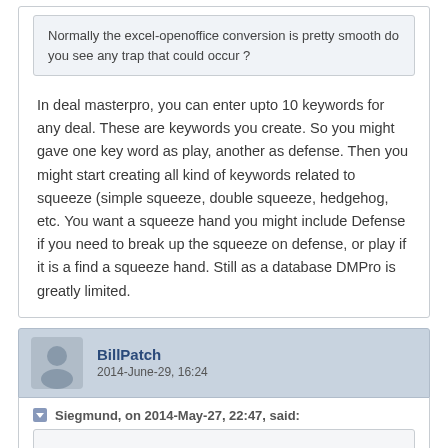Normally the excel-openoffice conversion is pretty smooth do you see any trap that could occur ?
In deal masterpro, you can enter upto 10 keywords for any deal. These are keywords you create. So you might gave one key word as play, another as defense. Then you might start creating all kind of keywords related to squeeze (simple squeeze, double squeeze, hedgehog, etc. You want a squeeze hand you might include Defense if you need to break up the squeeze on defense, or play if it is a find a squeeze hand. Still as a database DMPro is greatly limited.
BillPatch
2014-June-29, 16:24
Siegmund, on 2014-May-27, 22:47, said:
....
It's really just a matter of what kinds of constraints you want to make easy for yourself, and what programming languages you know.
In my case, I taught myself TCL so I could use the Deal software. For